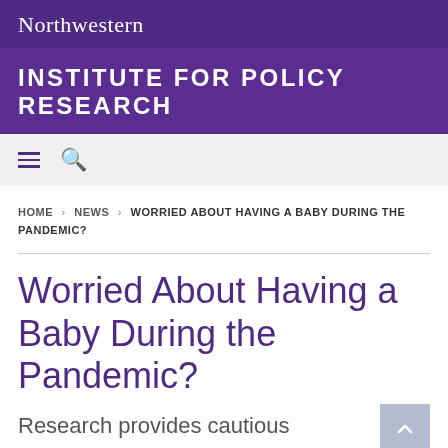Northwestern
INSTITUTE FOR POLICY RESEARCH
HOME > NEWS > WORRIED ABOUT HAVING A BABY DURING THE PANDEMIC?
Worried About Having a Baby During the Pandemic?
Research provides cautious